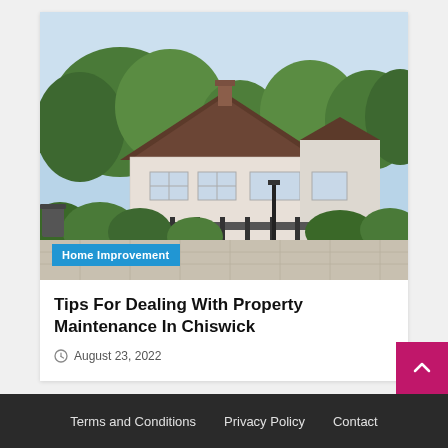[Figure (photo): Exterior photo of a semi-detached house in Chiswick with lush green trees and garden foliage in front, brick construction, dark tile roof, blue sky visible above. A category badge reading 'Home Improvement' overlays the bottom left of the image.]
Tips For Dealing With Property Maintenance In Chiswick
August 23, 2022
Terms and Conditions   Privacy Policy   Contact